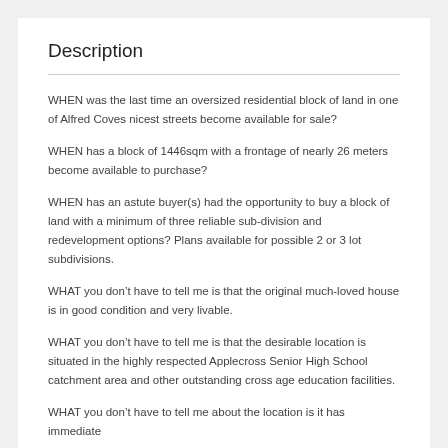Description
WHEN was the last time an oversized residential block of land in one of Alfred Coves nicest streets become available for sale?
WHEN has a block of 1446sqm with a frontage of nearly 26 meters become available to purchase?
WHEN has an astute buyer(s) had the opportunity to buy a block of land with a minimum of three reliable sub-division and redevelopment options? Plans available for possible 2 or 3 lot subdivisions.
WHAT you don’t have to tell me is that the original much-loved house is in good condition and very livable.
WHAT you don’t have to tell me is that the desirable location is situated in the highly respected Applecross Senior High School catchment area and other outstanding cross age education facilities.
WHAT you don’t have to tell me about the location is it has immediate